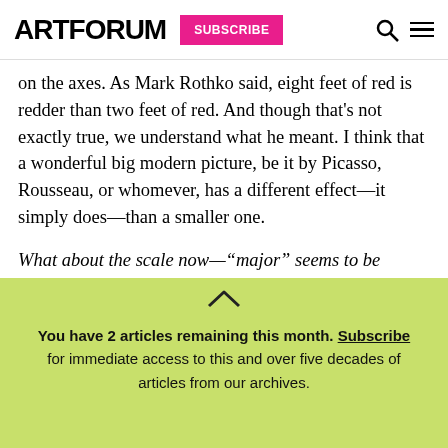ARTFORUM | SUBSCRIBE
on the axes. As Mark Rothko said, eight feet of red is redder than two feet of red. And though that's not exactly true, we understand what he meant. I think that a wonderful big modern picture, be it by Picasso, Rousseau, or whomever, has a different effect—it simply does—than a smaller one.
What about the scale now—“major” seems to be speaking of the size.
You have 2 articles remaining this month. Subscribe for immediate access to this and over five decades of articles from our archives.